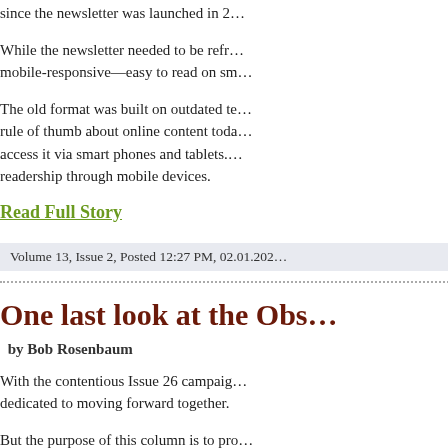since the newsletter was launched in 2…
While the newsletter needed to be refr… mobile-responsive—easy to read on sm…
The old format was built on outdated te… rule of thumb about online content toda… access it via smart phones and tablets.… readership through mobile devices.
Read Full Story
Volume 13, Issue 2, Posted 12:27 PM, 02.01.202…
One last look at the Obs…
by Bob Rosenbaum
With the contentious Issue 26 campaig… dedicated to moving forward together.
But the purpose of this column is to pro… the Heights Observer. So at the risk of… past several months.
We set out to serve as a forum for disc…